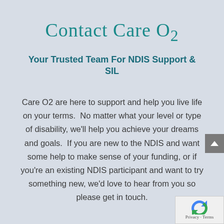Contact Care O2
Your Trusted Team For NDIS Support & SIL
Care O2 are here to support and help you live life on your terms.  No matter what your level or type of disability, we'll help you achieve your dreams and goals.  If you are new to the NDIS and want some help to make sense of your funding, or if you're an existing NDIS participant and want to try something new, we'd love to hear from you so please get in touch.